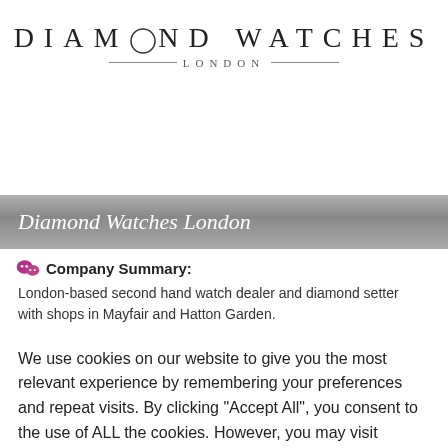[Figure (logo): Diamond Watches London logo with large spaced serif uppercase text and 'LONDON' subtitle with horizontal lines]
Diamond Watches London
Company Summary: London-based second hand watch dealer and diamond setter with shops in Mayfair and Hatton Garden.
We use cookies on our website to give you the most relevant experience by remembering your preferences and repeat visits. By clicking "Accept All", you consent to the use of ALL the cookies. However, you may visit "Cookie Settings" to provide a controlled consent.